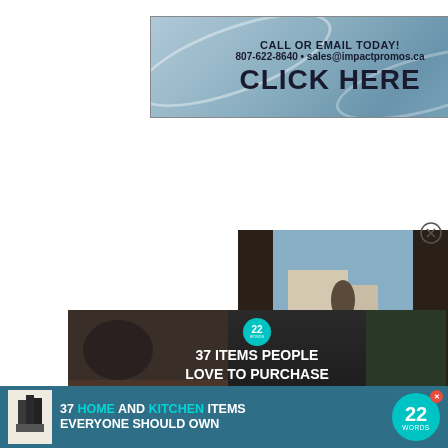[Figure (infographic): Banner advertisement with blue gradient background showing 'CALL OR EMAIL TODAY! 807-622-8640 • sales@impactpromos.ca' and large 'CLICK HERE' text]
[Figure (photo): Video overlay showing a scene viewed from inside a car, with a person visible through the car window, and a play button in the center]
[Figure (infographic): Dark advertisement overlay with '22 WORDS' badge, title '37 ITEMS PEOPLE LOVE TO PURCHASE ON AMAZON' and CLOSE button]
[Figure (infographic): Bottom strip advertisement for '37 HOME AND KITCHEN ITEMS EVERYONE SHOULD OWN' with 22 Words badge and kitchen item image]